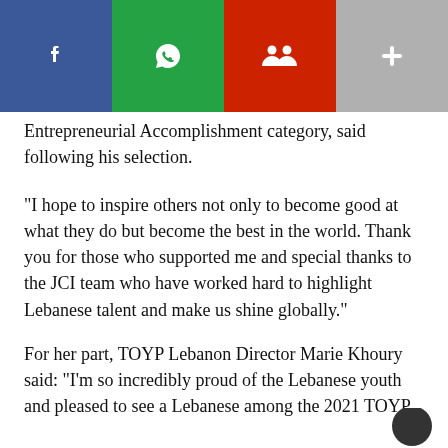[Figure (screenshot): Social media share bar with four buttons: Facebook (dark blue), WhatsApp (green), MySpace/people icon (red), and a plus/more button (grey)]
Entrepreneurial Accomplishment category, said following his selection.
“I hope to inspire others not only to become good at what they do but become the best in the world. Thank you for those who supported me and special thanks to the JCI team who have worked hard to highlight Lebanese talent and make us shine globally.”
For her part, TOYP Lebanon Director Marie Khoury said: “I’m so incredibly proud of the Lebanese youth and pleased to see a Lebanese among the 2021 TOYP